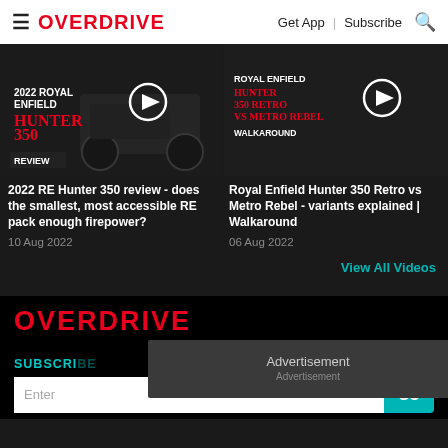≡ OVERDRIVE  Get App | Subscribe 🔍
[Figure (screenshot): Two video thumbnails side by side: left shows 2022 Royal Enfield Hunter 350 motorcycle with REVIEW label and play button; right shows Royal Enfield Hunter 350 Retro vs Metro Rebel Walkaround with play button]
2022 RE Hunter 350 review - does the smallest, most accessible RE pack enough firepower?
10 Aug 2022
Royal Enfield Hunter 350 Retro vs Metro Rebel - variants explained | Walkaround
06 Aug 2022
View All Videos
OVERDRIVE
SUBSCRI
Enter
GO
Advertisement